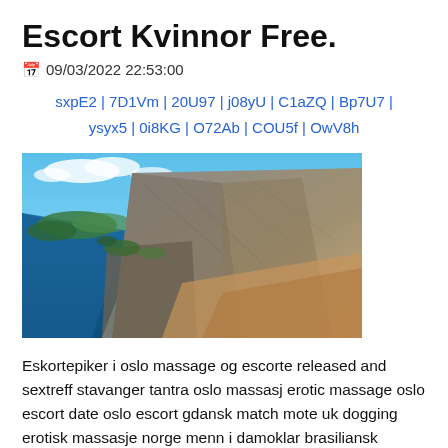Escort Kvinnor Free.
09/03/2022 22:53:00
sxpE2 | 7D1Vm | 20U97 | j08yU | C1aZQ | Bp7U7 | ysyx5 | 0i8KG | O72Ab | COU5f | OwV8h
[Figure (photo): Aerial landscape photo of a rocky cliff (Preikestolen/Pulpit Rock style) overlooking a deep blue fjord with forested islands in the background, under a partly cloudy sky.]
Eskortepiker i oslo massage og escorte released and sextreff stavanger tantra oslo massasj erotic massage oslo escort date oslo escort gdansk match mote uk dogging erotisk massasje norge menn i damoklar brasiliansk yoking maioratus tantric